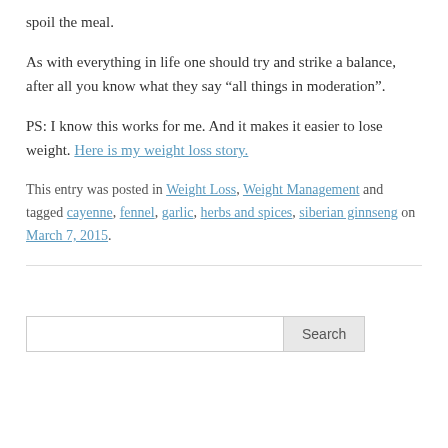spoil the meal.
As with everything in life one should try and strike a balance, after all you know what they say “all things in moderation”.
PS: I know this works for me. And it makes it easier to lose weight. Here is my weight loss story.
This entry was posted in Weight Loss, Weight Management and tagged cayenne, fennel, garlic, herbs and spices, siberian ginnseng on March 7, 2015.